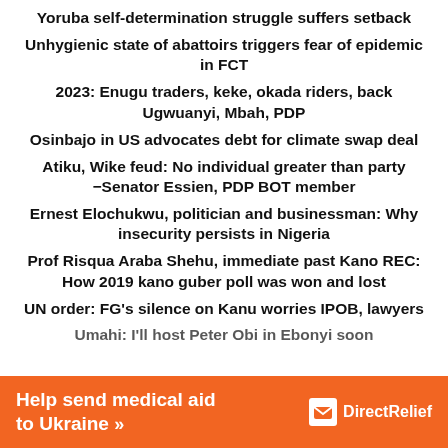Yoruba self-determination struggle suffers setback
Unhygienic state of abattoirs triggers fear of epidemic in FCT
2023: Enugu traders, keke, okada riders, back Ugwuanyi, Mbah, PDP
Osinbajo in US advocates debt for climate swap deal
Atiku, Wike feud: No individual greater than party –Senator Essien, PDP BOT member
Ernest Elochukwu, politician and businessman: Why insecurity persists in Nigeria
Prof Risqua Araba Shehu, immediate past Kano REC: How 2019 kano guber poll was won and lost
UN order: FG's silence on Kanu worries IPOB, lawyers
Umahi: I'll host Peter Obi in Ebonyi soon
[Figure (infographic): Orange advertisement banner: 'Help send medical aid to Ukraine >>' with DirectRelief logo on the right]